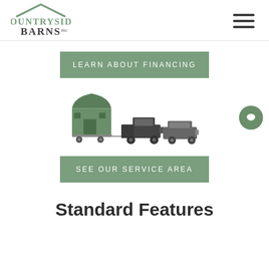Countryside Barns Inc
LEARN ABOUT FINANCING
[Figure (illustration): Illustration of a green barn on a trailer being towed by a dark pickup truck, with a second car following behind]
SEE OUR SERVICE AREA
Standard Features